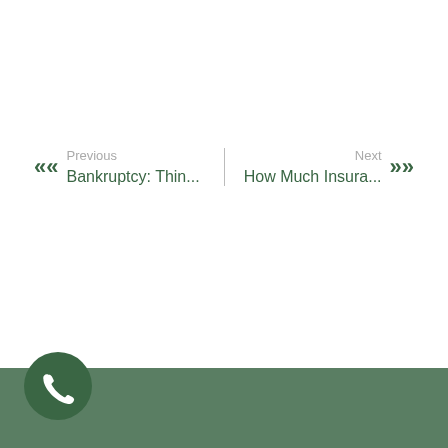Previous
Bankruptcy: Thin...
Next
How Much Insura...
[Figure (other): Phone call button icon in dark green circular button, positioned in footer bar]